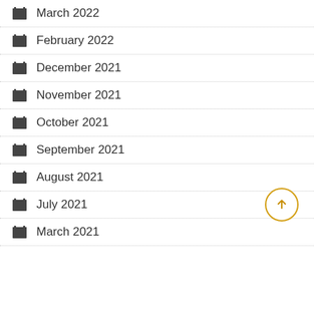March 2022
February 2022
December 2021
November 2021
October 2021
September 2021
August 2021
July 2021
March 2021